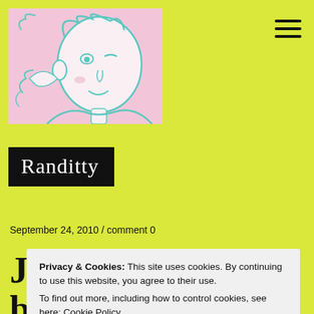[Figure (illustration): Hand-drawn illustration of a person's face in teal/cyan lines on a pink background, partially cropped, upper left of page. Appears to be a child or cartoon figure.]
Randitty
September 24, 2010 / comment 0
J
b
Privacy & Cookies: This site uses cookies. By continuing to use this website, you agree to their use.
To find out more, including how to control cookies, see here: Cookie Policy
Close and accept